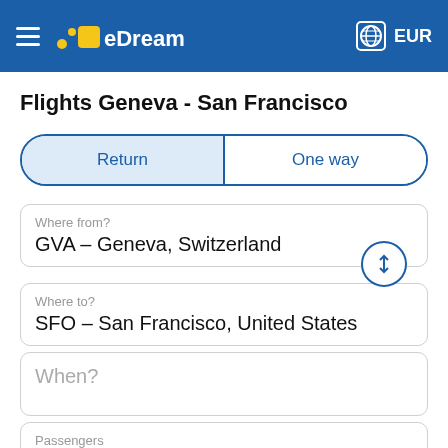eDreams EUR
Flights Geneva - San Francisco
Return | One way
Where from?
GVA – Geneva, Switzerland
Where to?
SFO – San Francisco, United States
When?
Passengers
1 adult